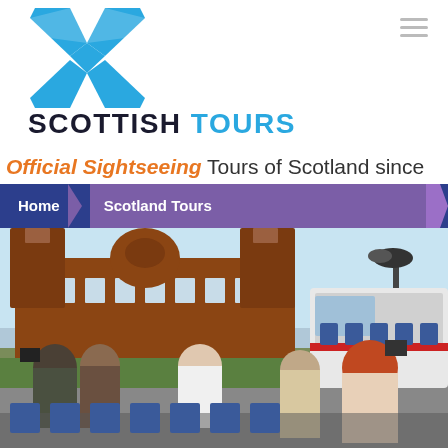[Figure (logo): Scottish Tours logo — blue St Andrew's cross (saltire) shape]
SCOTTISH TOURS
Official Sightseeing Tours of Scotland since
Home > Scotland Tours
[Figure (photo): Tourists on an open-top bus photographing Kelvingrove Art Gallery and Museum in Glasgow, Scotland, on a sunny day.]